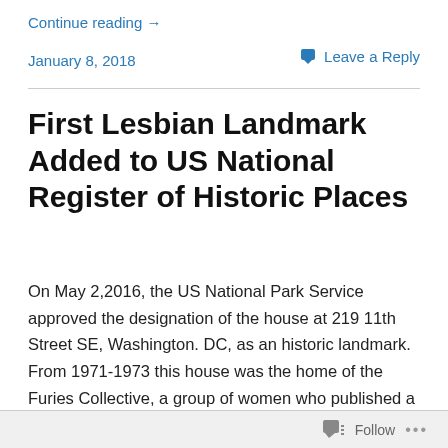Continue reading →
January 8, 2018
Leave a Reply
First Lesbian Landmark Added to US National Register of Historic Places
On May 2,2016, the US National Park Service  approved the designation of the house at 219 11th Street SE, Washington. DC, as an historic landmark.  From 1971-1973 this house was the home of the Furies Collective, a group of women who published a newsletter and articles that led the early … Continue reading →
Follow  •••